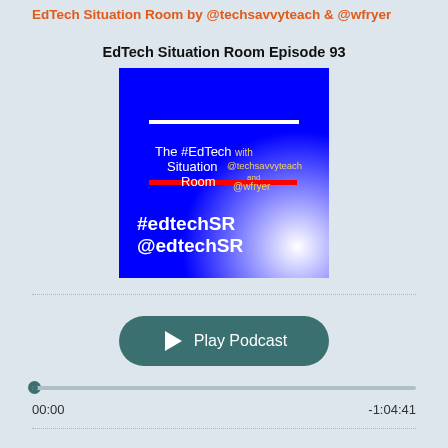EdTech Situation Room by @techsavvyteach & @wfryer
EdTech Situation Room Episode 93
[Figure (other): Podcast cover art for EdTech Situation Room showing blue background with white line, red line, text '#EdTech Situation Room with @techsavvyteach and @wfryer', '#edtechSR @edtechSR' at bottom left, white gradient in lower right]
Play Podcast
00:00
-1:04:41